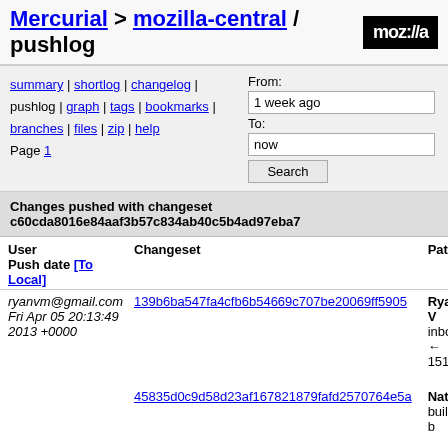Mercurial > mozilla-central / pushlog
summary | shortlog | changelog | pushlog | graph | tags | bookmarks | branches | files | zip | help
Page 1
From: 1 week ago
To: now
Search
Changes pushed with changeset c60cda8016e84aaf3b57c834ab40c5b4ad97eba7
| User
Push date [To Local] | Changeset | Patch |
| --- | --- | --- |
| ryanvm@gmail.com
Fri Apr 05 20:13:49 2013 +0000 | 139b6ba547fa4cfb6b54669c707be20069ff5905 | Ryan V... inbou... ← 151 |
|  | 45835d0c9d58d23af167821879fafd2570764e5a | Natha... build b... |
|  | 6f83b4eedf820113c03a7941cae43aee4efe6bf1 | Marty... we use... think w... |
|  | c13cc671185857f59cf9a3eb172292be4f2dbebe | Marty... flushe... (r=jbra... |
|  | ccb2618918a868c07fa8ab51c324ba6ac10cf8a3 | Mark R... Brows... |